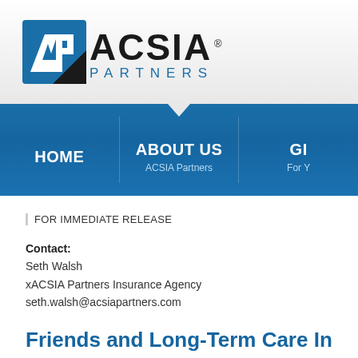[Figure (logo): ACSIA Partners logo — blue square with stylized AP letters in white, followed by 'ACSIA' in large black text and 'PARTNERS' in blue text below]
[Figure (screenshot): Navigation bar with blue gradient background showing HOME, ABOUT US (with 'ACSIA Partners' subtitle), and G... (with 'For Y...' subtitle) menu items. A downward triangle indicator appears at top center.]
FOR IMMEDIATE RELEASE
Contact:
Seth Walsh
xACSIA Partners Insurance Agency
seth.walsh@acsiapartners.com
Friends and Long-Term Care Insura...